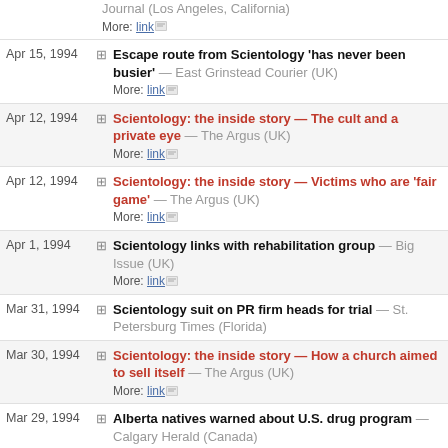Journal (Los Angeles, California) More: link
Apr 15, 1994 — Escape route from Scientology 'has never been busier' — East Grinstead Courier (UK) More: link
Apr 12, 1994 — Scientology: the inside story — The cult and a private eye — The Argus (UK) More: link
Apr 12, 1994 — Scientology: the inside story — Victims who are 'fair game' — The Argus (UK) More: link
Apr 1, 1994 — Scientology links with rehabilitation group — Big Issue (UK) More: link
Mar 31, 1994 — Scientology suit on PR firm heads for trial — St. Petersburg Times (Florida)
Mar 30, 1994 — Scientology: the inside story — How a church aimed to sell itself — The Argus (UK) More: link
Mar 29, 1994 — Alberta natives warned about U.S. drug program — Calgary Herald (Canada)
Mar 29, 1994 — Scientology: the inside story — Just the worst two years of my life — The Argus (UK) More: link
Mar 28, 1994 — Scientology: the inside story — Secrets of Saint Hill — The Argus (UK)